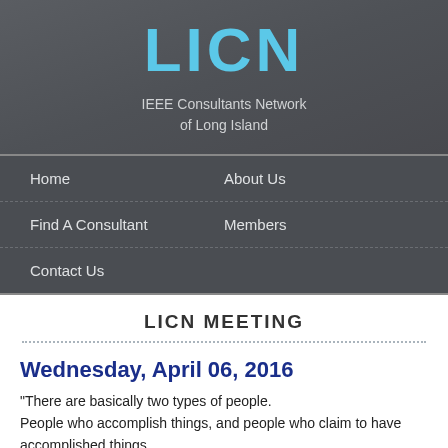LICN
IEEE Consultants Network of Long Island
Home
About Us
Find A Consultant
Members
Contact Us
LICN MEETING
Wednesday, April 06, 2016
“There are basically two types of people. People who accomplish things, and people who claim to have accomplished things.